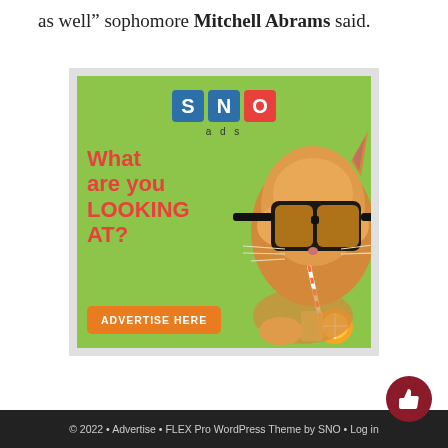as well” sophomore Mitchell Abrams said.
[Figure (illustration): SNO ads advertisement banner featuring a cat wearing sunglasses drinking from a straw with an orange, text reads 'What are you LOOKING AT?' and 'ADVERTISE HERE' button]
© 2022 • Advertise • FLEX Pro WordPress Theme by SNO • Log in